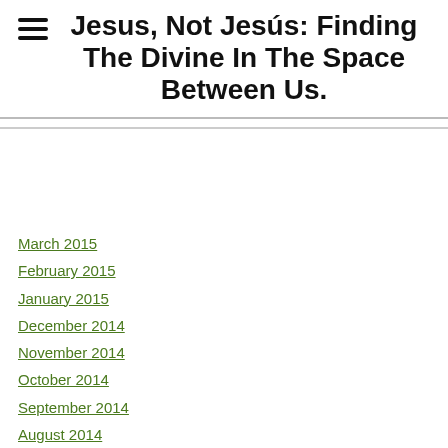Jesus, Not Jesús: Finding The Divine In The Space Between Us.
March 2015
February 2015
January 2015
December 2014
November 2014
October 2014
September 2014
August 2014
July 2014
March 2014
February 2014
December 2013
November 2013
September 2013
August 2013
June 2013
May 2013
April 2013
March 2013